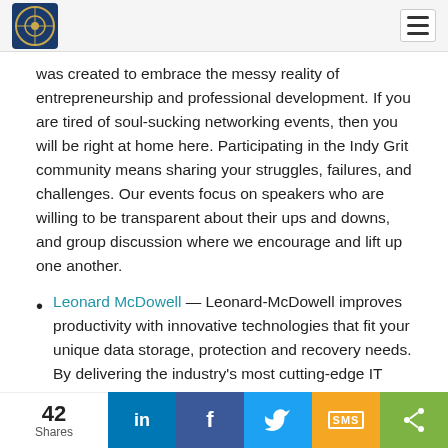[Logo] [Hamburger menu]
was created to embrace the messy reality of entrepreneurship and professional development. If you are tired of soul-sucking networking events, then you will be right at home here. Participating in the Indy Grit community means sharing your struggles, failures, and challenges. Our events focus on speakers who are willing to be transparent about their ups and downs, and group discussion where we encourage and lift up one another.
Leonard McDowell — Leonard-McDowell improves productivity with innovative technologies that fit your unique data storage, protection and recovery needs. By delivering the industry's most cutting-edge IT solutions with integrity and personal involvement, we optimize the investment you have in your staff and resources and
42 Shares | LinkedIn | Facebook | Twitter | SMS | Share